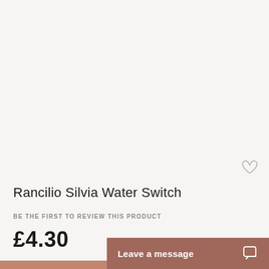[Figure (photo): Product image area — empty/white background for product photo]
Rancilio Silvia Water Switch
BE THE FIRST TO REVIEW THIS PRODUCT
£4.30
Leave a message